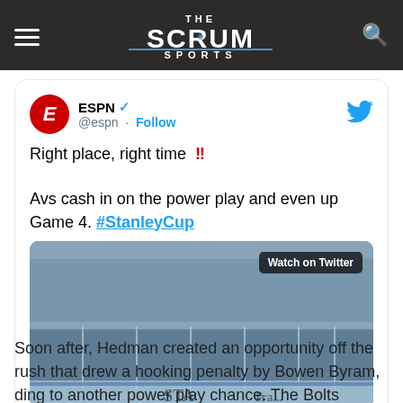The Scrum Sports
ESPN @espn · Follow
Right place, right time ‼

Avs cash in on the power play and even up Game 4. #StanleyCup
[Figure (screenshot): Video thumbnail of a hockey game with 'Watch on Twitter' badge, showing crowd and rink boards]
Soon after, Hedman created an opportunity off the rush that drew a hooking penalty by Bowen Byram, ding to another power play chance. The Bolts